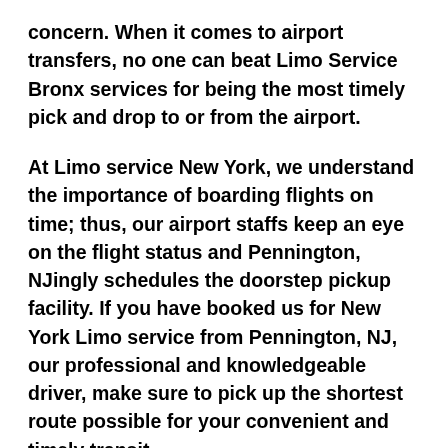concern. When it comes to airport transfers, no one can beat Limo Service Bronx services for being the most timely pick and drop to or from the airport.
At Limo service New York, we understand the importance of boarding flights on time; thus, our airport staffs keep an eye on the flight status and Pennington, NJingly schedules the doorstep pickup facility. If you have booked us for New York Limo service from Pennington, NJ, our professional and knowledgeable driver, make sure to pick up the shortest route possible for your convenient and timely transit.
The highly skilled and talented chauffeur of Luxury Limo service New York City makes the place of the